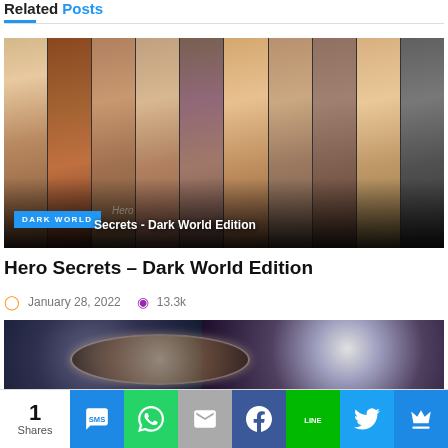Related Posts
[Figure (photo): Composite image of multiple close-up face strips side by side with dark overlay at bottom. Badge reads 'DARK WORLD'. Title text reads 'Hero Secrets - Dark World Edition'.]
Hero Secrets – Dark World Edition
January 28, 2022   13.3k
[Figure (photo): Partial image of dark fantasy artwork with metallic circular emblem and dark creature with wings, blue and dark colors.]
1 Shares